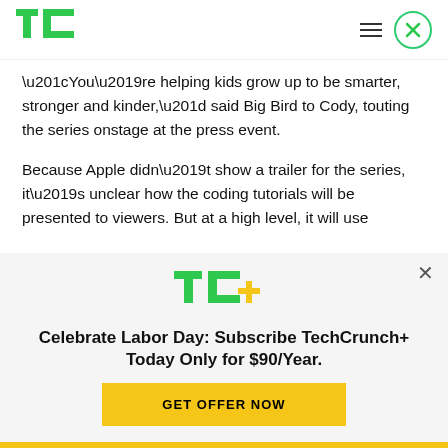TechCrunch
“You’re helping kids grow up to be smarter, stronger and kinder,” said Big Bird to Cody, touting the series onstage at the press event.
Because Apple didn’t show a trailer for the series, it’s unclear how the coding tutorials will be presented to viewers. But at a high level, it will use
[Figure (logo): TechCrunch+ logo (TC+ in green and yellow)]
Celebrate Labor Day: Subscribe TechCrunch+ Today Only for $90/Year.
GET OFFER NOW